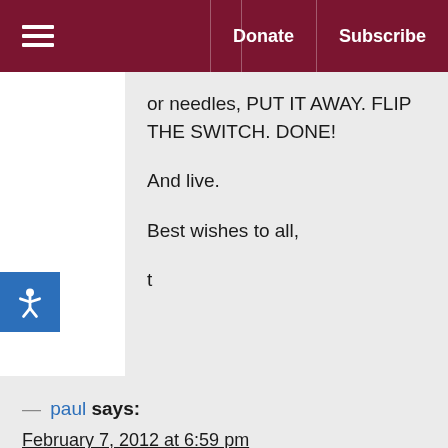☰  Donate  Subscribe
or needles, PUT IT AWAY. FLIP THE SWITCH. DONE!

And live.

Best wishes to all,

t
— paul says:
February 7, 2012 at 6:59 pm